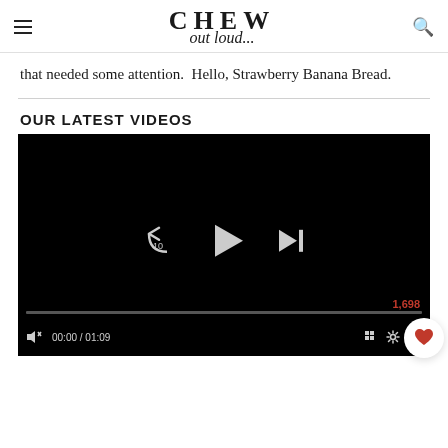CHEW out loud...
that needed some attention.  Hello, Strawberry Banana Bread.
OUR LATEST VIDEOS
[Figure (screenshot): Video player showing a dark/black screen with playback controls: rewind 10 seconds button, play button, skip-next button, a progress bar at 0:00/1:09, mute icon, grid icon, settings icon, fullscreen icon, view count 1,698, and a heart/favorite button overlay.]